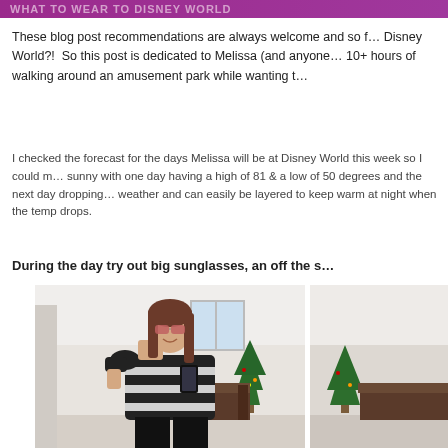What to Wear to Disney World
These blog post recommendations are always welcome and so f... Disney World?!  So this post is dedicated to Melissa (and anyone... 10+ hours of walking around an amusement park while wanting t...
I checked the forecast for the days Melissa will be at Disney World this week so I could m... sunny with one day having a high of 81 & a low of 50 degrees and the next day dropping... weather and can easily be layered to keep warm at night when the temp drops.
During the day try out big sunglasses, an off the s...
[Figure (photo): Woman taking a mirror selfie wearing big sunglasses, an off-the-shoulder black and white striped sweater, and black skinny jeans. A Christmas tree is visible in the background reflection.]